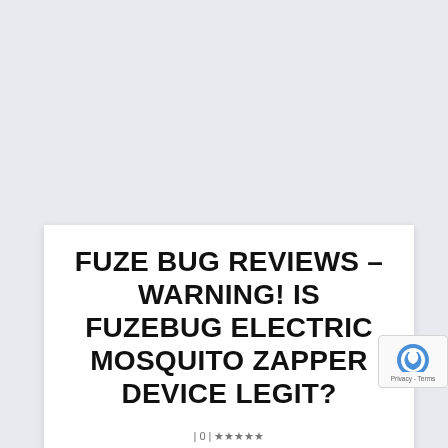FUZE BUG REVIEWS – WARNING! IS FUZEBUG ELECTRIC MOSQUITO ZAPPER DEVICE LEGIT?
by Nuvectra Medical | June 3, 2022 | Sponsored Content